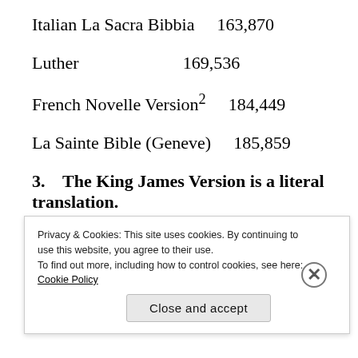Italian La Sacra Bibbia    163,870
Luther    169,536
French Novelle Version²    184,449
La Sainte Bible (Geneve)    185,859
3.   The King James Version is a literal translation.
The preface to the KJV actually claims otherwise. For
Privacy & Cookies: This site uses cookies. By continuing to use this website, you agree to their use. To find out more, including how to control cookies, see here: Cookie Policy
Close and accept